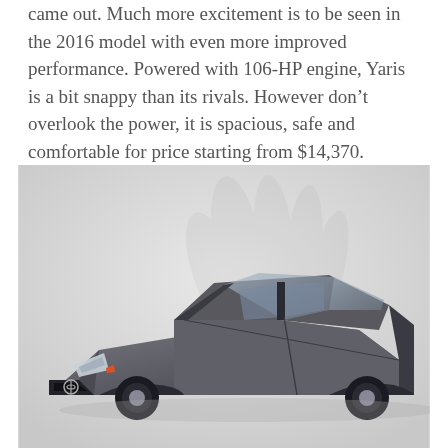came out. Much more excitement is to be seen in the 2016 model with even more improved performance. Powered with 106-HP engine, Yaris is a bit snappy than its rivals. However don't overlook the power, it is spacious, safe and comfortable for price starting from $14,370.
[Figure (photo): Front three-quarter view of a dark grey Toyota Yaris hatchback against a light grey background with faint decorative hand graphic]